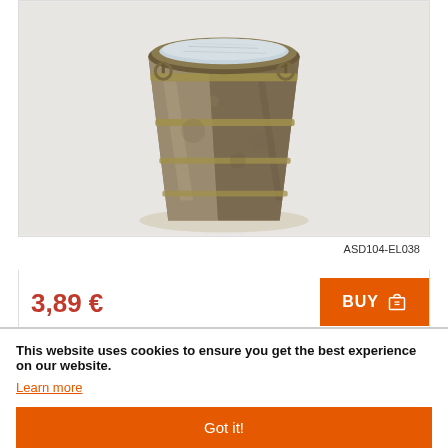[Figure (photo): A rustic metallic bucket/container with patina, filled with a white granular substance, viewed from slightly above. The container has ring handles on the sides and a banded construction.]
ASD104-EL038
3,89 €
BUY
1/35 Block of Flats
This website uses cookies to ensure you get the best experience on our website.
Learn more
Got it!